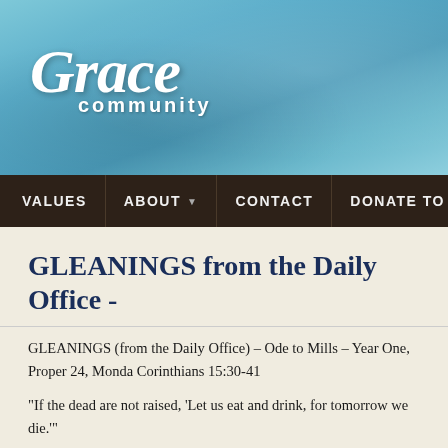[Figure (logo): Grace Community church logo with italic script 'Grace' and smaller text 'community' on a teal/blue textured banner background]
VALUES  ABOUT  CONTACT  DONATE TO GRA
GLEANINGS from the Daily Office -
GLEANINGS (from the Daily Office) – Ode to Mills – Year One, Proper 24, Monday Corinthians 15:30-41
“If the dead are not raised, ‘Let us eat and drink, for tomorrow we die.’”
Yesterday I attended a memorial service for Mills Sproull, the son of my fraternity four students who died last weekend in a tragic car crash at the University of Southern fraternity brother said afterward that you had to have a hard heart if you weren’t replied it was easier for me to count the moments I was not crying. That could be terribly sad. I’ve experienced some intense pain in my life but nothing that would family is enduring. If past experience is an indicator of what the future holds the